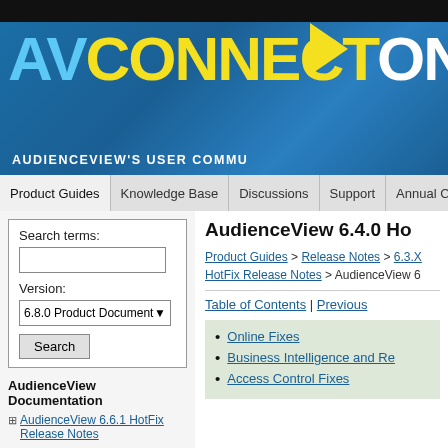[Figure (logo): AVConnect Online banner logo with blue background, 'AV' in light blue, 'CONNECT' in yellow, 'ONLINE' in white, subtitle 'AUDIENCEVIEW'S USER COMMUNITY']
Product Guides | Knowledge Base | Discussions | Support | Annual Conference
Search terms:
Version: 6.8.0 Product Documentation
Search
AudienceView Documentation
AudienceView 6.6.1 HotFix Release Notes
AudienceView 6.4.0 Ho
Product Guides > Release Notes > 6.3.X HotFix Release Notes > AudienceView 6
Table of Contents | Previous
Online Fixes
Business Intelligence and Re
Access Control Fixes